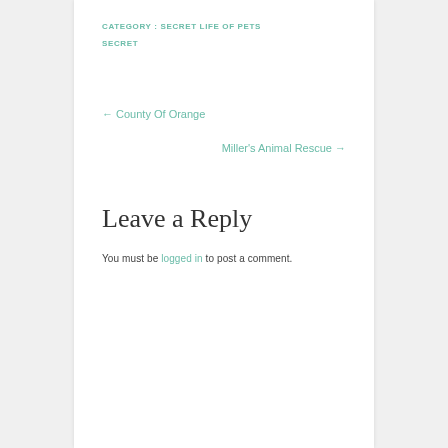CATEGORY : SECRET LIFE OF PETS
SECRET
← County Of Orange
Miller's Animal Rescue →
Leave a Reply
You must be logged in to post a comment.